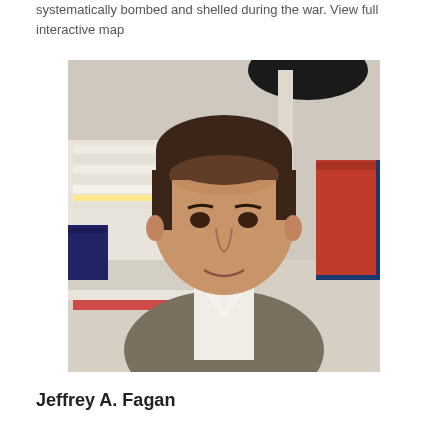systematically bombed and shelled during the war. View full interactive map
[Figure (photo): Portrait photo of Jeffrey A. Fagan, a middle-aged man with dark hair, wearing a white shirt and grey blazer, sitting in front of a bookshelf and stacks of papers.]
Jeffrey A. Fagan